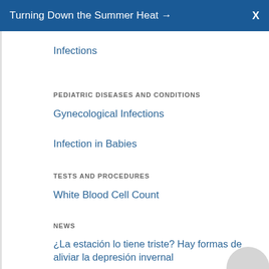Turning Down the Summer Heat →  X
Infections
PEDIATRIC DISEASES AND CONDITIONS
Gynecological Infections
Infection in Babies
TESTS AND PROCEDURES
White Blood Cell Count
NEWS
¿La estación lo tiene triste? Hay formas de aliviar la depresión invernal
[Deltacron] Variant Rare and Not a Major Concern...